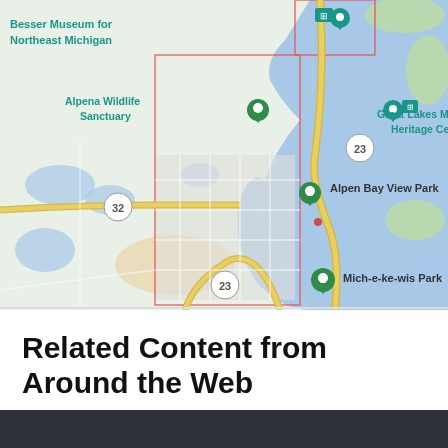[Figure (map): Google Maps view of Alpena, Michigan area showing Besser Museum for Northeast Michigan, Alpena Wildlife Sanctuary, Great Lakes Maritime Heritage Center, Alpen Bay View Park, Mich-e-ke-wis Park, with road markers for routes 23 and 32. The map shows Thunder Bay with blue water on the right side.]
Related Content from Around the Web